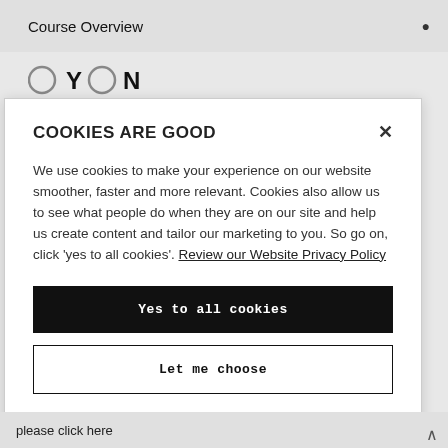Course Overview
[Figure (logo): O Y O N logo with circle icons]
COOKIES ARE GOOD
We use cookies to make your experience on our website smoother, faster and more relevant. Cookies also allow us to see what people do when they are on our site and help us create content and tailor our marketing to you. So go on, click 'yes to all cookies'. Review our Website Privacy Policy
Yes to all cookies
Let me choose
please click here